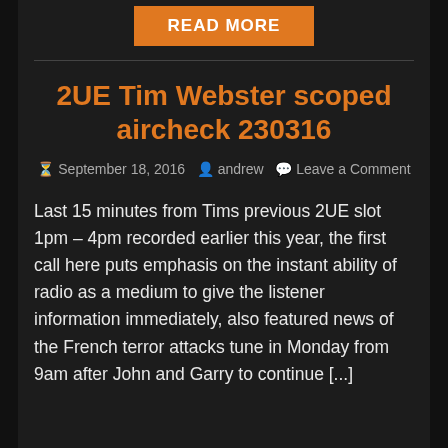[Figure (other): Orange 'READ MORE' button]
2UE Tim Webster scoped aircheck 230316
September 18, 2016  andrew  Leave a Comment
Last 15 minutes from Tims previous 2UE slot 1pm – 4pm recorded earlier this year, the first call here puts emphasis on the instant ability of radio as a medium to give the listener information immediately, also featured news of the French terror attacks tune in Monday from 9am after John and Garry to continue [...]